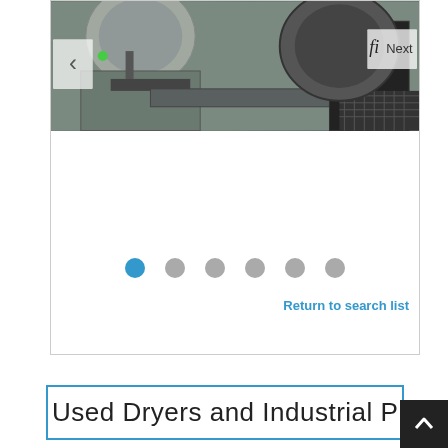[Figure (photo): Industrial machinery / dryer equipment photo with Previous and Next navigation buttons, six pagination dots (first dot active/blue), and a 'Return to search list' link]
Used Dryers and Industrial Pr